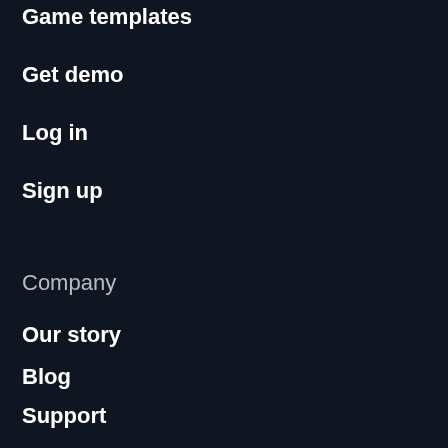Game templates
Get demo
Log in
Sign up
Company
Our story
Blog
Support
Brandbook
Contact